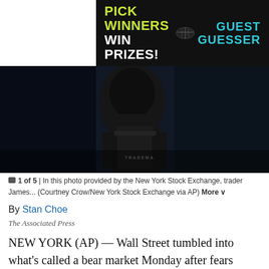[Figure (illustration): Advertisement banner: PICK WINNERS WIN PRIZES! with GUEST GUESSER text and football helmet graphic on dark background]
[Figure (photo): Dark photo of a trader on the New York Stock Exchange floor, with TRADEMARKETS text visible on jacket]
1 of 5 | In this photo provided by the New York Stock Exchange, trader James... (Courtney Crow/New York Stock Exchange via AP) More
By Stan Choe
The Associated Press
NEW YORK (AP) — Wall Street tumbled into what’s called a bear market Monday after fears about a fragile economy and rising interest rates sent the S&P 500 more than 20% below its record set early this year.